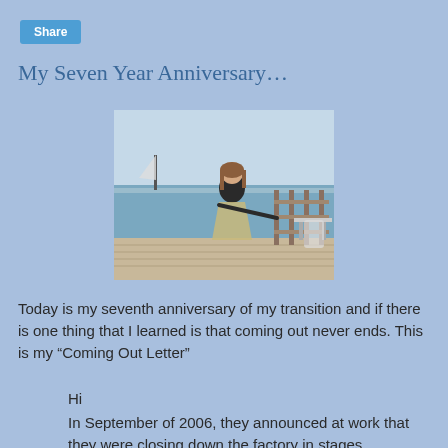Share
My Seven Year Anniversary…
[Figure (photo): A woman standing on a waterfront deck/pier with sailboats and water in the background, wearing a black top and patterned skirt.]
Today is my seventh anniversary of my transition and if there is one thing that I learned is that coming out never ends. This is my “Coming Out Letter”
Hi
In September of 2006, they announced at work that they were closing down the factory in stages, beginning after the end of the first quarter of 2007. We saw the shutdown coming when they